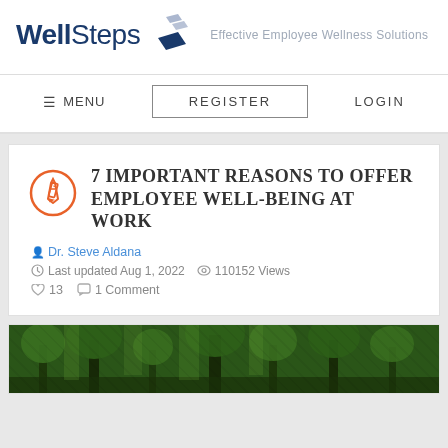[Figure (logo): WellSteps logo with stepping stone diamond shapes and tagline 'Effective Employee Wellness Solutions']
☰ MENU   REGISTER   LOGIN
7 IMPORTANT REASONS TO OFFER EMPLOYEE WELL-BEING AT WORK
Dr. Steve Aldana
Last updated Aug 1, 2022   110152 Views   ♡ 13   1 Comment
[Figure (photo): Forest/trees nature photograph, partial view at bottom of page]